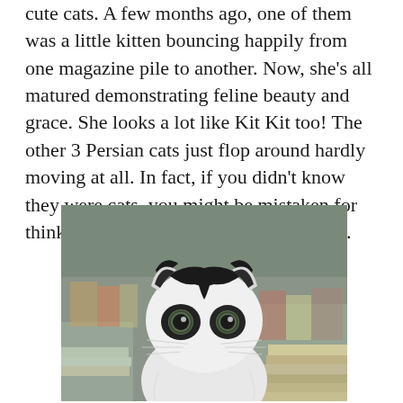cute cats. A few months ago, one of them was a little kitten bouncing happily from one magazine pile to another. Now, she's all matured demonstrating feline beauty and grace. She looks a lot like Kit Kit too! The other 3 Persian cats just flop around hardly moving at all. In fact, if you didn't know they were cats, you might be mistaken for thinking you've stepped on a Persian rug.
[Figure (photo): Close-up photograph of a black and white kitten with big round eyes, sitting in front of stacked magazines or books, looking directly at the camera.]